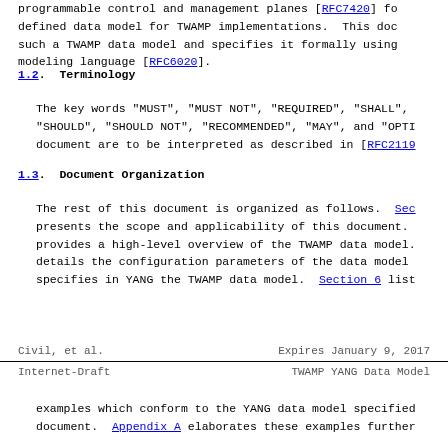programmable control and management planes [RFC7420] fo defined data model for TWAMP implementations. This doc such a TWAMP data model and specifies it formally using modeling language [RFC6020].
1.2. Terminology
The key words "MUST", "MUST NOT", "REQUIRED", "SHALL", "SHOULD", "SHOULD NOT", "RECOMMENDED", "MAY", and "OPTI document are to be interpreted as described in [RFC2119
1.3. Document Organization
The rest of this document is organized as follows. Sec presents the scope and applicability of this document. provides a high-level overview of the TWAMP data model. details the configuration parameters of the data model specifies in YANG the TWAMP data model. Section 6 list
Civil, et al.                    Expires January 9, 2017
Internet-Draft                   TWAMP YANG Data Model
examples which conform to the YANG data model specified document. Appendix A elaborates these examples further